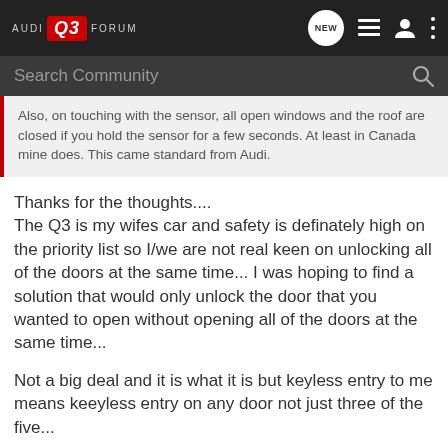AUDI Q3 FORUM
Also, on touching with the sensor, all open windows and the roof are closed if you hold the sensor for a few seconds. At least in Canada mine does. This came standard from Audi.
Thanks for the thoughts....
The Q3 is my wifes car and safety is definately high on the priority list so I/we are not real keen on unlocking all of the doors at the same time... I was hoping to find a solution that would only unlock the door that you wanted to open without opening all of the doors at the same time...

Not a big deal and it is what it is but keyless entry to me means keeyless entry on any door not just three of the five...
2015 Q3, Florett Silver Metallic, Quattro with lots-o-bells & whistles